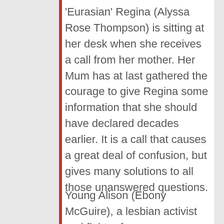'Eurasian' Regina (Alyssa Rose Thompson) is sitting at her desk when she receives a call from her mother. Her Mum has at last gathered the courage to give Regina some information that she should have declared decades earlier. It is a call that causes a great deal of confusion, but gives many solutions to all those unanswered questions.
Young Alison (Ebony McGuire), a lesbian activist and fighter for many